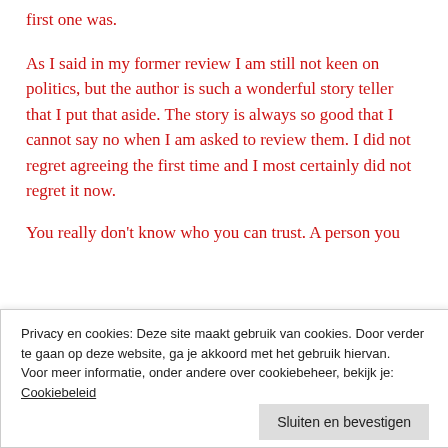first one was.
As I said in my former review I am still not keen on politics, but the author is such a wonderful story teller that I put that aside. The story is always so good that I cannot say no when I am asked to review them. I did not regret agreeing the first time and I most certainly did not regret it now.
You really don't know who you can trust. A person you
Privacy en cookies: Deze site maakt gebruik van cookies. Door verder te gaan op deze website, ga je akkoord met het gebruik hiervan.
Voor meer informatie, onder andere over cookiebeheer, bekijk je:
Cookiebeleid
Sluiten en bevestigen